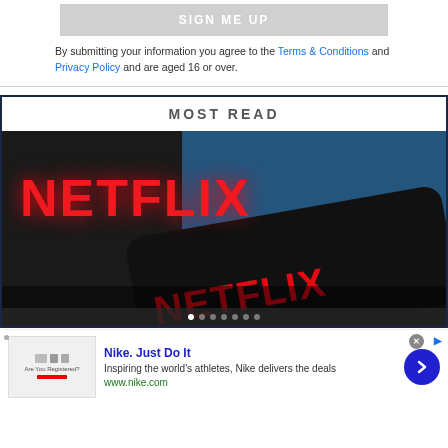[Figure (other): SIGN ME UP button, gray background]
By submitting your information you agree to the Terms & Conditions and Privacy Policy and are aged 16 or over.
MOST READ
[Figure (photo): Netflix logo photo showing red NETFLIX text on dark background with smartphone also showing Netflix logo]
[Figure (other): Nike. Just Do It advertisement: Inspiring the world's athletes, Nike delivers the deals. www.nike.com]